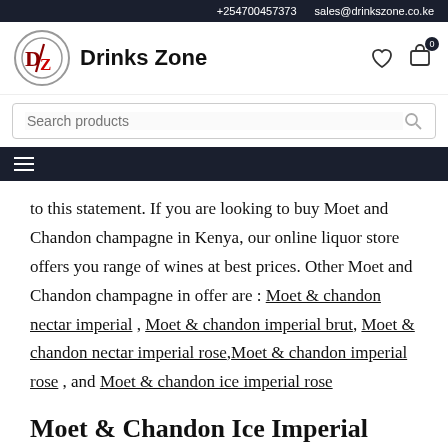+254700457373   sales@drinkszone.co.ke
[Figure (logo): Drinks Zone logo: circular emblem with stylized DZ letters in red/dark red, next to bold text 'Drinks Zone']
to this statement. If you are looking to buy Moet and Chandon champagne in Kenya, our online liquor store offers you range of wines at best prices. Other Moet and Chandon champagne in offer are : Moet & chandon nectar imperial , Moet & chandon imperial brut, Moet & chandon nectar imperial rose, Moet & chandon imperial rose , and Moet & chandon ice imperial rose
Moet & Chandon Ice Imperial Tasting